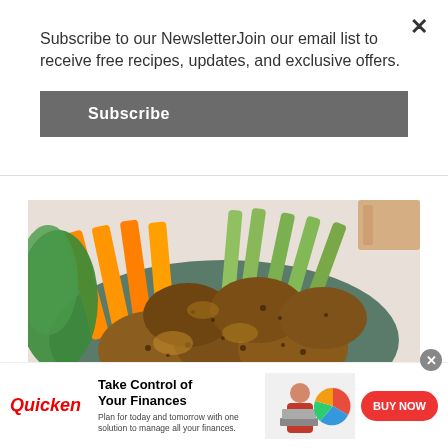Subscribe to our NewsletterJoin our email list to receive free recipes, updates, and exclusive offers.
Subscribe
[Figure (photo): A bowl of spiced chicken wings or drumettes served with carrot sticks and celery sticks on a teal/blue plate, with green leaves in background.]
[Figure (infographic): Quicken advertisement banner: 'Take Control of Your Finances — Plan for today and tomorrow with one solution to manage all your finances.' with BUY NOW button and illustration of woman at laptop with pie chart graphic.]